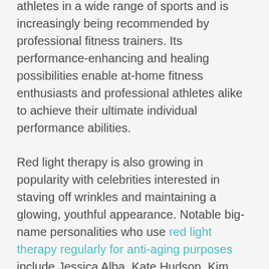athletes in a wide range of sports and is increasingly being recommended by professional fitness trainers. Its performance-enhancing and healing possibilities enable at-home fitness enthusiasts and professional athletes alike to achieve their ultimate individual performance abilities.
Red light therapy is also growing in popularity with celebrities interested in staving off wrinkles and maintaining a glowing, youthful appearance. Notable big-name personalities who use red light therapy regularly for anti-aging purposes include Jessica Alba, Kate Hudson, Kim Kardashian, Emma Stone, Chrissy Teigen, and Katy Perry.
Red light therapy draws upon your body's natural cellular processes to activate change and help you become your healthiest, fittest, and most radiant